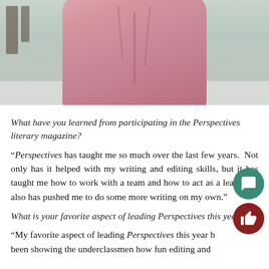[Figure (photo): Photo of a person wearing a pink sweatshirt outdoors in a snowy setting, torso/lower face visible]
What have you learned from participating in the Perspectives literary magazine?
“Perspectives has taught me so much over the last few years.  Not only has it helped with my writing and editing skills, but it has taught me how to work with a team and how to act as a leader.  It also has pushed me to do some more writing on my own.”
What is your favorite aspect of leading Perspectives this year?
“My favorite aspect of leading Perspectives this year has been showing the underclassmen how fun editing and